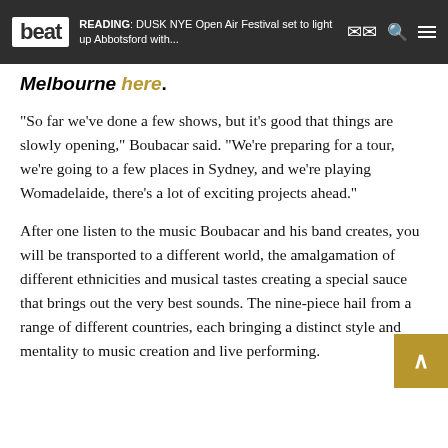beat | READING: DUSK NYE Open Air Festival set to light up Abbotsford with...
Melbourne here.
“So far we’ve done a few shows, but it’s good that things are slowly opening,” Boubacar said. “We’re preparing for a tour, we’re going to a few places in Sydney, and we’re playing Womadelaide, there’s a lot of exciting projects ahead.”
After one listen to the music Boubacar and his band creates, you will be transported to a different world, the amalgamation of different ethnicities and musical tastes creating a special sauce that brings out the very best sounds. The nine-piece hail from a range of different countries, each bringing a distinct style and mentality to music creation and live performing.